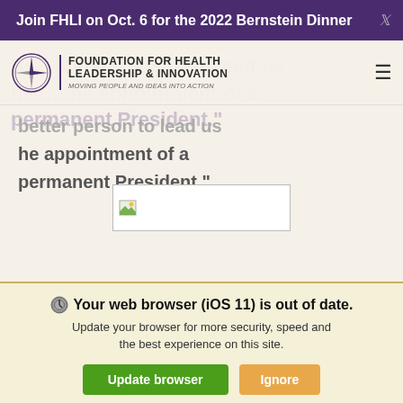Join FHLI on Oct. 6 for the 2022 Bernstein Dinner
[Figure (logo): Foundation for Health Leadership & Innovation logo with compass rose icon and tagline 'Moving People and Ideas Into Action']
better person to lead us ... he appointment of a permanent President.
[Figure (photo): Broken/missing image placeholder]
Your web browser (iOS 11) is out of date. Update your browser for more security, speed and the best experience on this site.